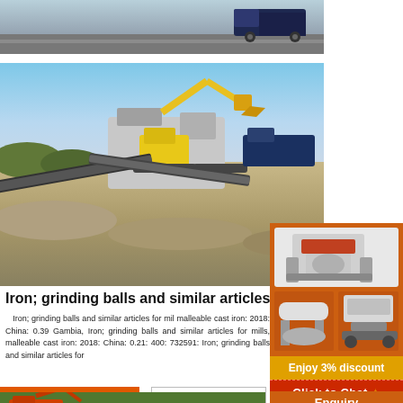[Figure (photo): Top strip photo showing a truck/vehicle on a road, partially visible]
[Figure (photo): Large photo of a mobile crushing/screening plant with excavator on a sandy quarry site]
[Figure (photo): Sidebar orange panel with images of crushing/milling machines]
Iron; grinding balls and similar articles
Iron; grinding balls and similar articles for mills, malleable cast iron: 2018: China: 0.39 Gambia, Iron; grinding balls and similar articles for mills, malleable cast iron: 2018: China: 0.21: 400: 732591: Iron; grinding balls and similar articles for
Enjoy 3% discount
Click to Chat
Enquiry